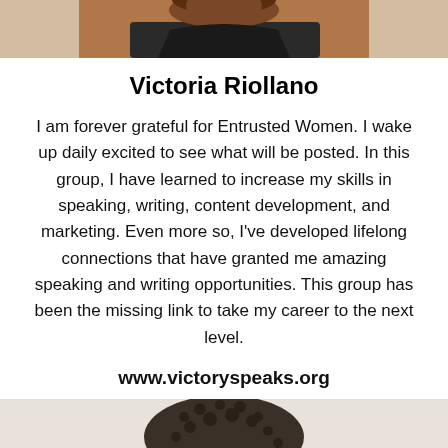[Figure (photo): Cropped photo of Victoria Riollano showing upper torso in black top, brown/auburn hair, dark skin tone]
Victoria Riollano
I am forever grateful for Entrusted Women. I wake up daily excited to see what will be posted. In this group, I have learned to increase my skills in speaking, writing, content development, and marketing. Even more so, I've developed lifelong connections that have granted me amazing speaking and writing opportunities. This group has been the missing link to take my career to the next level.
www.victoryspeaks.org
[Figure (photo): Cropped photo of another woman with natural coily hair, lighter skin tone, beginning of face visible at bottom of page]